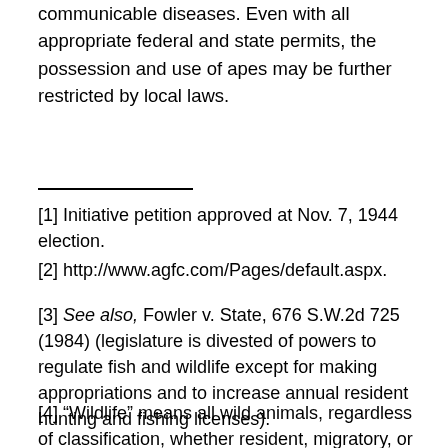communicable diseases. Even with all appropriate federal and state permits, the possession and use of apes may be further restricted by local laws.
[1] Initiative petition approved at Nov. 7, 1944 election.
[2] http://www.agfc.com/Pages/default.aspx.
[3] See also, Fowler v. State, 676 S.W.2d 725 (1984) (legislature is divested of powers to regulate fish and wildlife except for making appropriations and to increase annual resident hunting and fishing licenses).
[4] “Wildlife” means all wild animals, regardless of classification, whether resident, migratory, or imported, protected or unprotected, dead or alive… including animals